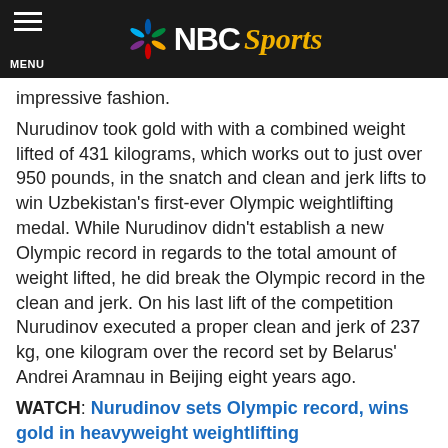NBC Sports
impressive fashion.
Nurudinov took gold with with a combined weight lifted of 431 kilograms, which works out to just over 950 pounds, in the snatch and clean and jerk lifts to win Uzbekistan's first-ever Olympic weightlifting medal. While Nurudinov didn't establish a new Olympic record in regards to the total amount of weight lifted, he did break the Olympic record in the clean and jerk. On his last lift of the competition Nurudinov executed a proper clean and jerk of 237 kg, one kilogram over the record set by Belarus' Andrei Aramnau in Beijing eight years ago.
WATCH: Nurudinov sets Olympic record, wins gold in heavyweight weightlifting
Nurudinov won gold by 17 kilograms, with Armenia's Simon Martirosyan taking silver at a total weight lifted of